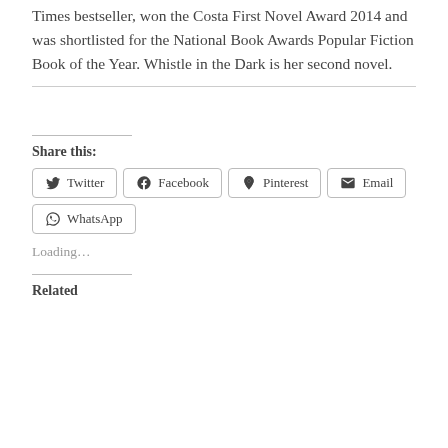Times bestseller, won the Costa First Novel Award 2014 and was shortlisted for the National Book Awards Popular Fiction Book of the Year. Whistle in the Dark is her second novel.
Share this:
Twitter
Facebook
Pinterest
Email
WhatsApp
Loading…
Related